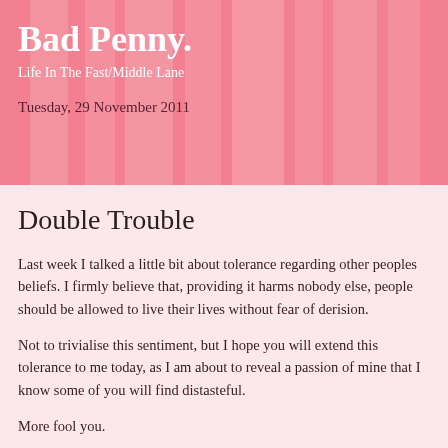Bad Penny.
Life In The Fast/Middle Lane
Tuesday, 29 November 2011
Double Trouble
Last week I talked a little bit about tolerance regarding other peoples beliefs. I firmly believe that, providing it harms nobody else, people should be allowed to live their lives without fear of derision.
Not to trivialise this sentiment, but I hope you will extend this tolerance to me today, as I am about to reveal a passion of mine that I know some of you will find distasteful.
More fool you.